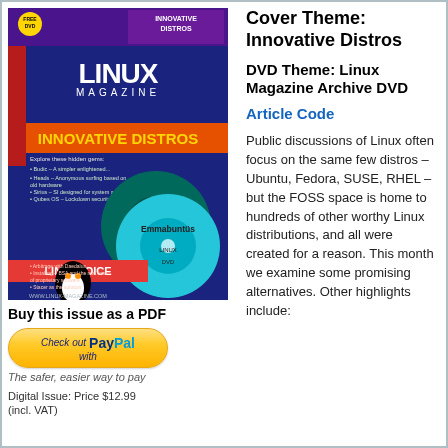[Figure (illustration): Linux Magazine cover featuring 'Innovative Distros' theme with Debian 9.5 Live Gnome and Emmabuntüs DVDs, Linux Tux penguin mascot, LINUXVOICE branding, www.linux-magazine.com]
Buy this issue as a PDF
[Figure (logo): PayPal checkout button with 'Check out with PayPal' text]
The safer, easier way to pay
Digital Issue: Price $12.99
(incl. VAT)
Cover Theme: Innovative Distros
DVD Theme: Linux Magazine Archive DVD
Article Code
Public discussions of Linux often focus on the same few distros – Ubuntu, Fedora, SUSE, RHEL – but the FOSS space is home to hundreds of other worthy Linux distributions, and all were created for a reason. This month we examine some promising alternatives. Other highlights include: